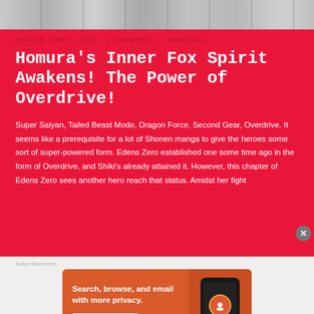[Figure (illustration): Black and white manga strip image cropped at top of page]
POSTED JUNE 1, 2021 / 2 COMMENTS / ANIMANGA
Homura's Inner Fox Spirit Awakens! The Power of Overdrive!
Super Saiyan, Tailed Beast Mode, Dragon Force, Second Gear, Overdrive. It seems like a prerequisite for a lot of Shonen manga to give the heroes some sort of super-powered form. Edens Zero established one some time ago in the form of Overdrive, and Shiki's already attained it. However, this chapter of Edens Zero sees another hero reach that status. Amidst her fight
[Figure (screenshot): DuckDuckGo advertisement banner with text 'Search, browse, and email with more privacy. All in One Free App' and phone mockup with DuckDuckGo logo]